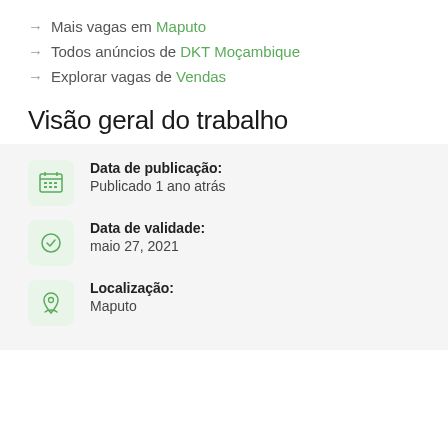→ Mais vagas em Maputo
→ Todos anúncios de DKT Moçambique
→ Explorar vagas de Vendas
Visão geral do trabalho
Data de publicação: Publicado 1 ano atrás
Data de validade: maio 27, 2021
Localização: Maputo